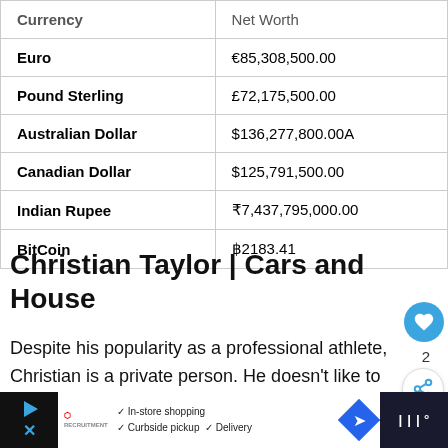| Currency | Net Worth |
| --- | --- |
| Euro | €85,308,500.00 |
| Pound Sterling | £72,175,500.00 |
| Australian Dollar | $136,277,800.00A |
| Canadian Dollar | $125,791,500.00 |
| Indian Rupee | ₹7,437,795,000.00 |
| BitCoin | ฿2183.41 |
Christian Taylor | Cars and House
Despite his popularity as a professional athlete, Christian is a private person. He doesn't like to make his personal life and engagement known to th...